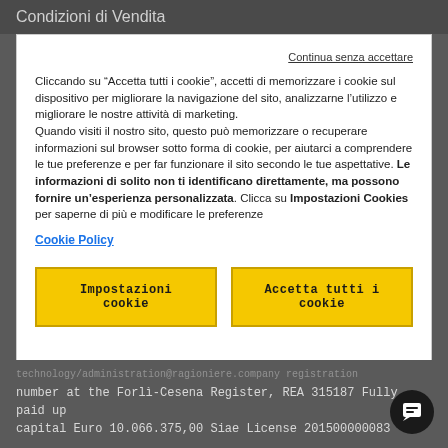Condizioni di Vendita
Continua senza accettare
Cliccando su “Accetta tutti i cookie”, accetti di memorizzare i cookie sul dispositivo per migliorare la navigazione del sito, analizzarne l’utilizzo e migliorare le nostre attività di marketing. Quando visiti il nostro sito, questo può memorizzare o recuperare informazioni sul browser sotto forma di cookie, per aiutarci a comprendere le tue preferenze e per far funzionare il sito secondo le tue aspettative. Le informazioni di solito non ti identificano direttamente, ma possono fornire un’esperienza personalizzata. Clicca su Impostazioni Cookies per saperne di più e modificare le preferenze
Cookie Policy
Impostazioni cookie
Accetta tutti i cookie
number at the Forlì-Cesena Register, REA 315187 Fully paid up capital Euro 10.066.375,00 Siae License 201500000083